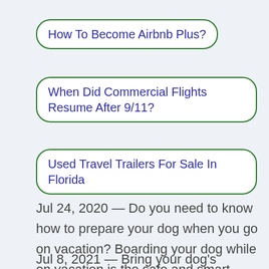How To Become Airbnb Plus?
When Did Commercial Flights Resume After 9/11?
Used Travel Trailers For Sale In Florida
Jul 24, 2020 — Do you need to know how to prepare your dog when you go on vacation? Boarding your dog while on vacation is the safe and smart choice.(29)…
Jul 8, 2021 — Bring your dog's regular